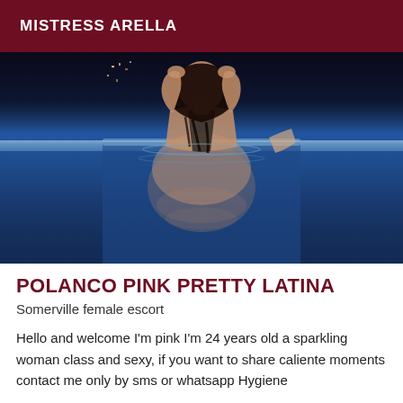MISTRESS ARELLA
[Figure (photo): A woman in a pool or jacuzzi at night, viewed from behind, with wet dark hair held up by her hands, city lights visible in the background. Water surrounds her.]
POLANCO PINK PRETTY LATINA
Somerville female escort
Hello and welcome I'm pink I'm 24 years old a sparkling woman class and sexy, if you want to share caliente moments contact me only by sms or whatsapp Hygiene